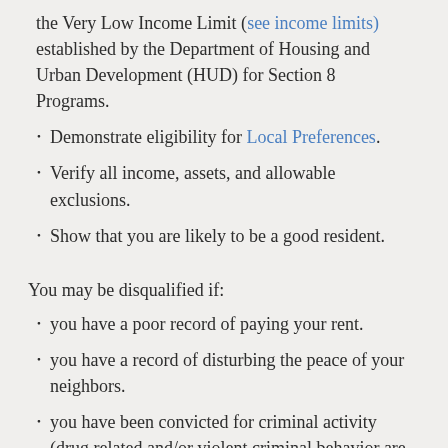the Very Low Income Limit (see income limits) established by the Department of Housing and Urban Development (HUD) for Section 8 Programs.
Demonstrate eligibility for Local Preferences.
Verify all income, assets, and allowable exclusions.
Show that you are likely to be a good resident.
You may be disqualified if:
you have a poor record of paying your rent.
you have a record of disturbing the peace of your neighbors.
you have been convicted for criminal activity (drug related and/or violent criminal behavior are grounds for immediate disqualification). If any household member has ever been convicted